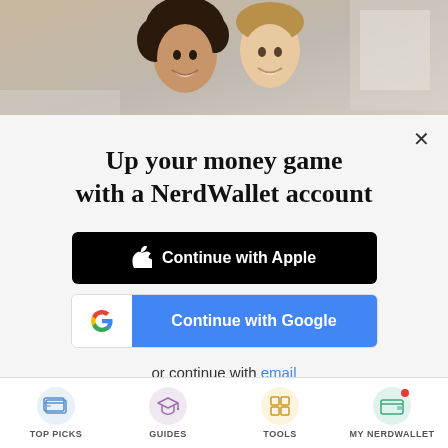[Figure (photo): Photo of a smiling couple, a woman with curly dark hair and a man, looking at something together, cropped at top of modal]
Up your money game with a NerdWallet account
[Figure (other): Continue with Apple button - black button with Apple logo]
[Figure (other): Continue with Google button - white logo area and blue text area with Google G logo]
or continue with email
By signing up, I agree to NerdWallet's Terms of Service and Privacy Policy.
TOP PICKS   GUIDES   TOOLS   MY NERDWALLET